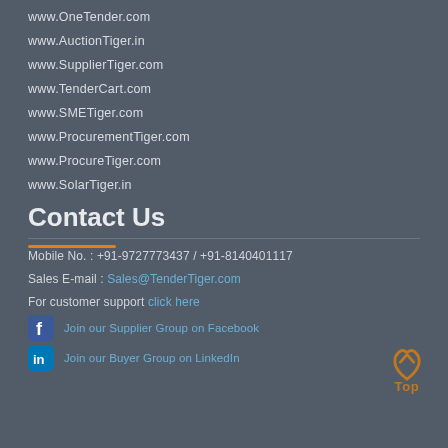www.OneTender.com
www.AuctionTiger.in
www.SupplierTiger.com
www.TenderCart.com
www.SMETiger.com
www.ProcurementTiger.com
www.ProcureTiger.com
www.SolarTiger.in
Contact Us
Mobile No. : +91-9727773437 / +91-8140401117
Sales E-mail : Sales@TenderTiger.com
For customer support click here
Join our Supplier Group on Facebook
Join our Buyer Group on LinkedIn